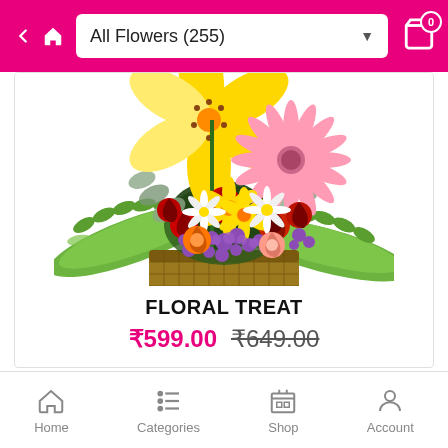All Flowers (255)
[Figure (photo): A colorful floral arrangement in a wicker basket featuring yellow lilies, pink gerbera daisies, red roses, purple statice, orange roses, yellow daffodils, white chrysanthemums, and green fern fronds.]
FLORAL TREAT
₹599.00  ₹649.00
Home  Categories  Shop  Account